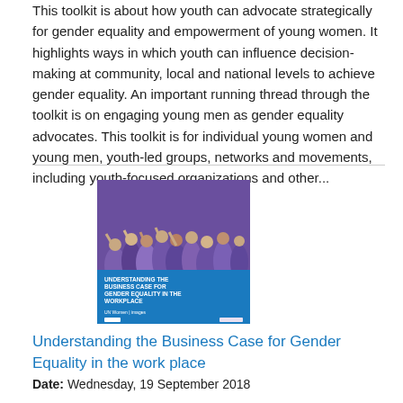This toolkit is about how youth can advocate strategically for gender equality and empowerment of young women. It highlights ways in which youth can influence decision-making at community, local and national levels to achieve gender equality. An important running thread through the toolkit is on engaging young men as gender equality advocates. This toolkit is for individual young women and young men, youth-led groups, networks and movements, including youth-focused organizations and other...
[Figure (photo): Book cover of 'Understanding the Business Case for Gender Equality in the Workplace' showing a crowd of people in purple shirts, published by UN Women / IMAGES MENA]
Understanding the Business Case for Gender Equality in the work place
Date: Wednesday, 19 September 2018
This guidance note draws data and recommendations from IMAGES MENA on the topic of raising children more gender equitably. It provides actionable steps and guidance on how civil society partners and UN actors can design and adapt programming and influence a policy environment that promotes